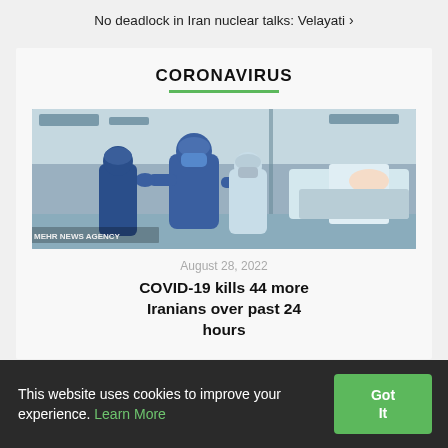No deadlock in Iran nuclear talks: Velayati ›
CORONAVIRUS
[Figure (photo): Medical workers in PPE in a hospital ward with patients; COVID-19 related image from MEHR news agency]
August 28, 2022
COVID-19 kills 44 more Iranians over past 24 hours
This website uses cookies to improve your experience. Learn More
Got It